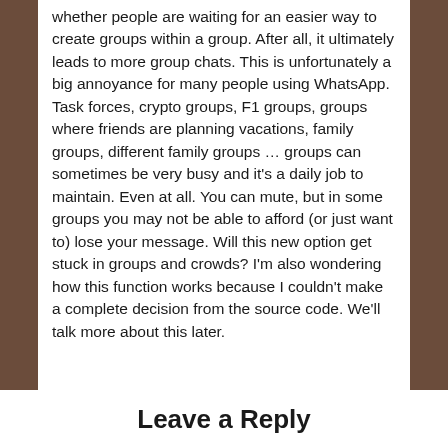whether people are waiting for an easier way to create groups within a group. After all, it ultimately leads to more group chats. This is unfortunately a big annoyance for many people using WhatsApp. Task forces, crypto groups, F1 groups, groups where friends are planning vacations, family groups, different family groups … groups can sometimes be very busy and it's a daily job to maintain. Even at all. You can mute, but in some groups you may not be able to afford (or just want to) lose your message. Will this new option get stuck in groups and crowds? I'm also wondering how this function works because I couldn't make a complete decision from the source code. We'll talk more about this later.
Leave a Reply